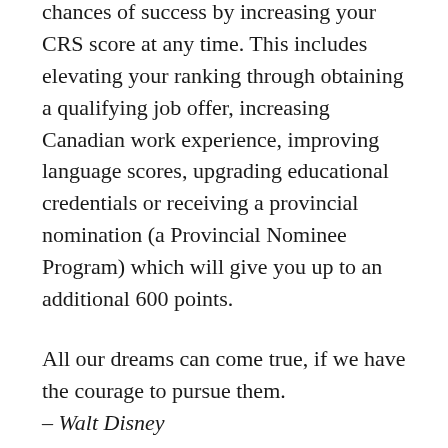chances of success by increasing your CRS score at any time. This includes elevating your ranking through obtaining a qualifying job offer, increasing Canadian work experience, improving language scores, upgrading educational credentials or receiving a provincial nomination (a Provincial Nominee Program) which will give you up to an additional 600 points.
All our dreams can come true, if we have the courage to pursue them.
– Walt Disney
Express Entry Will Be Used To Manage Applications For Specific Federal/Provincial Immigration Programs